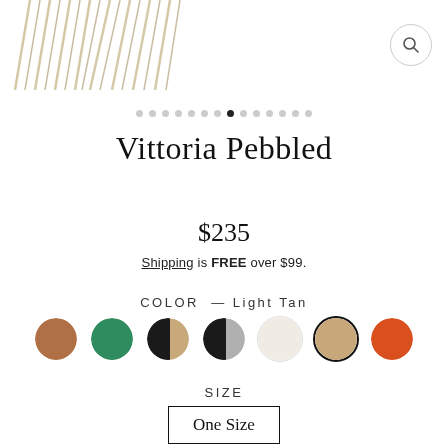[Figure (photo): Partial view of a cream/beige fringed bag or accessory in the upper left corner]
[Figure (other): Search icon button (magnifying glass) in upper right corner]
[Figure (infographic): Pagination dots row with 14 dots, the 8th dot is filled/active black]
Vittoria Pebbled
$235
Shipping is FREE over $99.
COLOR — Light Tan
[Figure (other): Color swatches: brown, green, black/tan split, black/gray split, cream/off-white, light tan (selected with border), orange-red]
SIZE
One Size